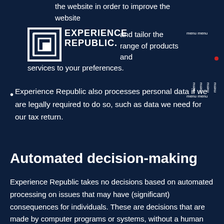the website in order to improve the website and tailor the range of products and services to your preferences.
[Figure (logo): Experience Republic logo — square spiral bracket icon with 'EXPERIENCE REPUBLIC' text in bold white]
[Figure (other): Navigation menu sidebar with repeated 'menu' text rotated vertically on dark background with red dot]
Experience Republic also processes personal data if we are legally required to do so, such as data we need for our tax return.
Automated decision-making
Experience Republic takes no decisions based on automated processing on issues that may have (significant) consequences for individuals. These are decisions that are made by computer programs or systems, without a human being (for example, an employee of Experience Republic) among them.